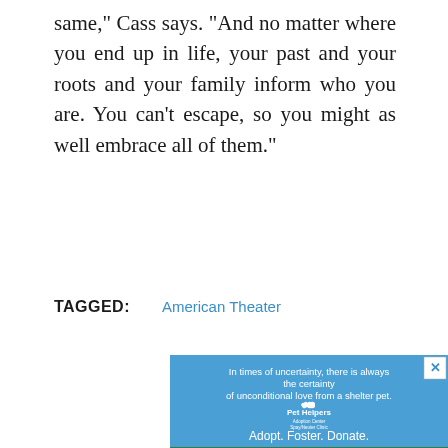same," Cass says. "And no matter where you end up in life, your past and your roots and your family inform who you are. You can't escape, so you might as well embrace all of them."
TAGGED:   American Theater
[Figure (other): Advertisement for Pet Helpers Adoption Center. Blue background with text: 'In times of uncertainty, there is always the certainty of unconditional love from a shelter pet.' Pet Helpers logo with cat silhouette icon. Subtext: 'Adoption Center Spay/Neuter Clinic'. Tagline: 'Adopt. Foster. Donate.' Photo of a person with a dog outdoors with trees in background.]